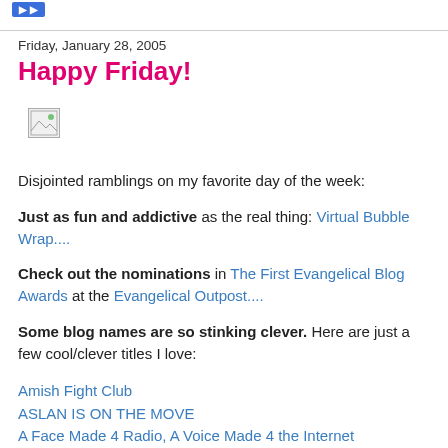[button]
Friday, January 28, 2005
Happy Friday!
[Figure (photo): Broken/placeholder image icon]
Disjointed ramblings on my favorite day of the week:
Just as fun and addictive as the real thing: Virtual Bubble Wrap....
Check out the nominations in The First Evangelical Blog Awards at the Evangelical Outpost....
Some blog names are so stinking clever. Here are just a few cool/clever titles I love:
Amish Fight Club
ASLAN IS ON THE MOVE
A Face Made 4 Radio, A Voice Made 4 the Internet